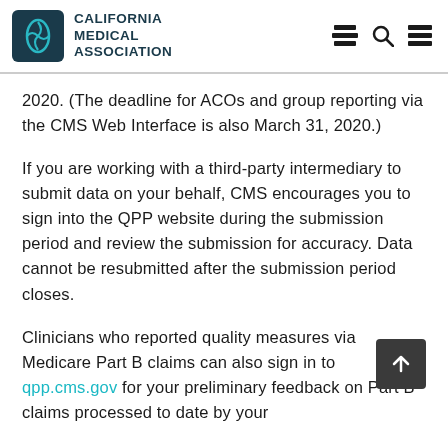CALIFORNIA MEDICAL ASSOCIATION
2020. (The deadline for ACOs and group reporting via the CMS Web Interface is also March 31, 2020.)
If you are working with a third-party intermediary to submit data on your behalf, CMS encourages you to sign into the QPP website during the submission period and review the submission for accuracy. Data cannot be resubmitted after the submission period closes.
Clinicians who reported quality measures via Medicare Part B claims can also sign in to qpp.cms.gov for your preliminary feedback on Part B claims processed to date by your